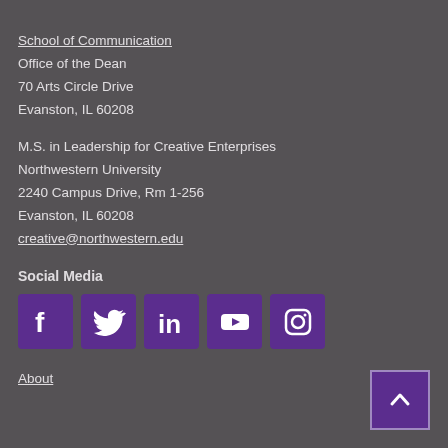School of Communication
Office of the Dean
70 Arts Circle Drive
Evanston, IL 60208
M.S. in Leadership for Creative Enterprises
Northwestern University
2240 Campus Drive, Rm 1-256
Evanston, IL 60208
creative@northwestern.edu
Social Media
[Figure (infographic): Five social media icon buttons in purple square boxes: Facebook, Twitter, LinkedIn, YouTube, Instagram]
[Figure (other): Back to top button — purple square with upward chevron arrow]
About